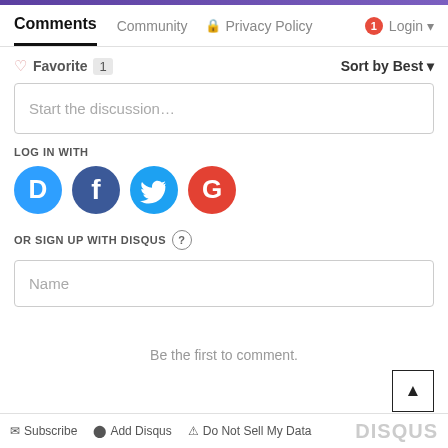Comments  Community  Privacy Policy  Login
Favorite 1  Sort by Best
Start the discussion...
LOG IN WITH
[Figure (logo): Social login icons: Disqus (blue circle with D), Facebook (dark blue circle with f), Twitter (light blue circle with bird), Google (red circle with G)]
OR SIGN UP WITH DISQUS ?
Name
Be the first to comment.
Subscribe  Add Disqus  Do Not Sell My Data  DISQUS